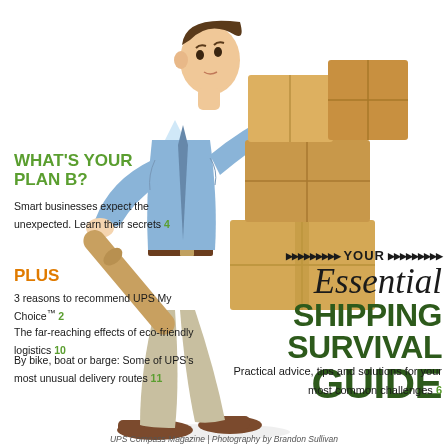[Figure (illustration): Man in blue dress shirt and khaki pants struggling to carry a large stack of cardboard boxes including a cardboard tube, striding forward against white background.]
WHAT'S YOUR PLAN B?
Smart businesses expect the unexpected. Learn their secrets 4
PLUS
3 reasons to recommend UPS My Choice™ 2
The far-reaching effects of eco-friendly logistics 10
By bike, boat or barge: Some of UPS's most unusual delivery routes 11
YOUR Essential SHIPPING SURVIVAL GUIDE
Practical advice, tips and solutions for your most common challenges 6
UPS Compass Magazine | Photography by Brandon Sullivan